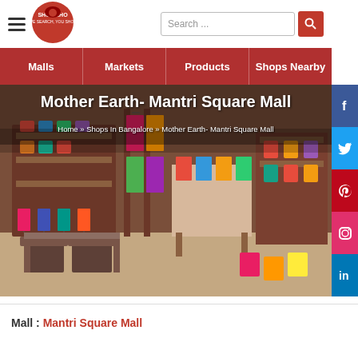Shop Khoj | Search... | Malls | Markets | Products | Shops Nearby
[Figure (screenshot): Store interior of Mother Earth at Mantri Square Mall showing clothing racks, shelves with bags and products, wooden furniture]
Mother Earth- Mantri Square Mall
Home » Shops In Bangalore » Mother Earth- Mantri Square Mall
Mall : Mantri Square Mall